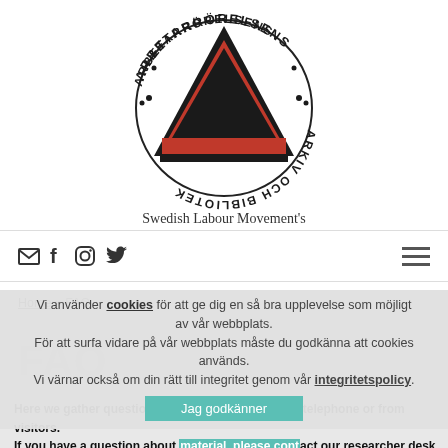[Figure (logo): Arbetarrörelsens Arkiv och Bibliotek logo — circular text around a triangle/pyramid shape in black and red, with Swedish Labour Movement's Archives and Library subtitle]
[Figure (infographic): Social media icons: email envelope, Facebook f, Instagram camera, Twitter bird]
[Figure (infographic): Hamburger menu icon (three horizontal lines)]
Vi använder cookies för att ge dig en så bra upplevelse som möjligt av vår webbplats. För att surfa vidare på vår webbplats måste du godkänna att cookies används. Vi värnar också om din rätt till integritet genom vår integritetspolicy.
Jag godkänner
Home » FAQ
FAQ
Here we gather questions that we receive by mail, telephone or from visitors. If you have a question about material, please contact our researcher desk.